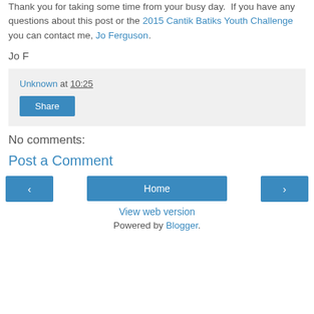Thank you for taking some time from your busy day. If you have any questions about this post or the 2015 Cantik Batiks Youth Challenge you can contact me, Jo Ferguson.
Jo F
Unknown at 10:25
Share
No comments:
Post a Comment
‹
Home
›
View web version
Powered by Blogger.